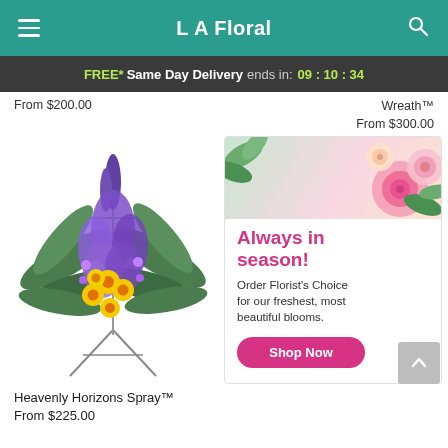L A Floral
FREE* Same Day Delivery ends in: 09 : 10 : 34
From $200.00
Wreath™
From $300.00
[Figure (photo): Heavenly Horizons Spray floral arrangement with purple and yellow flowers on a stand]
[Figure (infographic): Always in season! Order Florist's Choice for our freshest, most beautiful blooms. Shop Now button with pink floral background.]
Heavenly Horizons Spray™
From $225.00